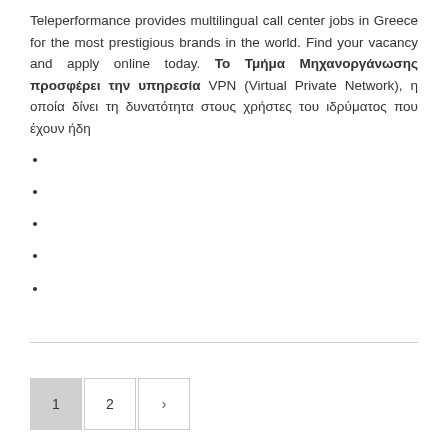Teleperformance provides multilingual call center jobs in Greece for the most prestigious brands in the world. Find your vacancy and apply online today. Το Τμήμα Μηχανοργάνωσης προσφέρει την υπηρεσία VPN (Virtual Private Network), η οποία δίνει τη δυνατότητα στους χρήστες του ιδρύματος που έχουν ήδη